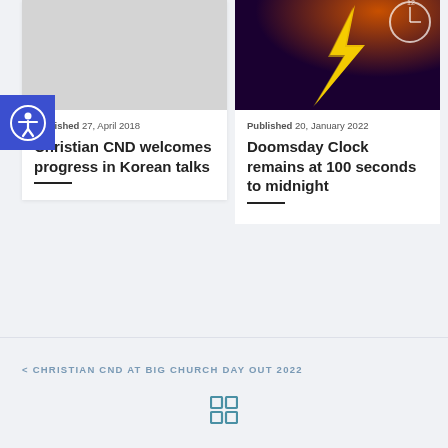[Figure (photo): Gray placeholder image for article thumbnail]
Published 27, April 2018
Christian CND welcomes progress in Korean talks
[Figure (photo): Dark dramatic photo with lightning bolt and clock face overlay]
Published 20, January 2022
Doomsday Clock remains at 100 seconds to midnight
[Figure (other): Blue accessibility icon button (person in circle)]
< CHRISTIAN CND AT BIG CHURCH DAY OUT 2022
[Figure (other): Grid/menu icon (four squares)]